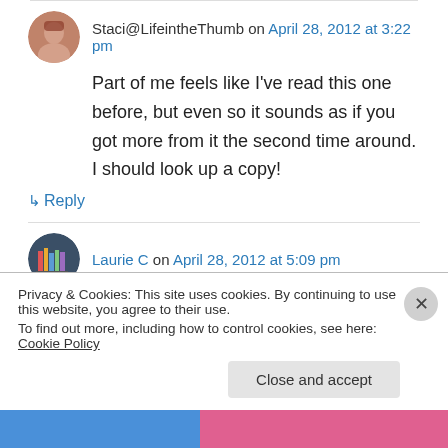Staci@LifeintheThumb on April 28, 2012 at 3:22 pm
Part of me feels like I've read this one before, but even so it sounds as if you got more from it the second time around. I should look up a copy!
↳ Reply
Laurie C on April 28, 2012 at 5:09 pm
Very convincing review! I never read any more of
Privacy & Cookies: This site uses cookies. By continuing to use this website, you agree to their use.
To find out more, including how to control cookies, see here: Cookie Policy
Close and accept